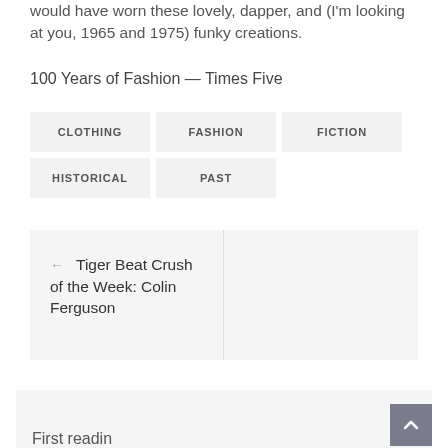would have worn these lovely, dapper, and (I'm looking at you, 1965 and 1975) funky creations.
100 Years of Fashion — Times Five
CLOTHING
FASHION
FICTION
HISTORICAL
PAST
← Tiger Beat Crush of the Week: Colin Ferguson
First readin…